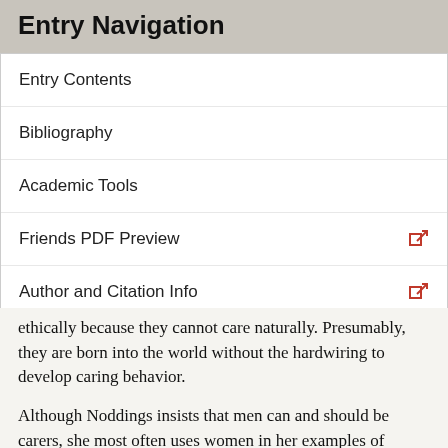Entry Navigation
Entry Contents
Bibliography
Academic Tools
Friends PDF Preview
Author and Citation Info
ethically because they cannot care naturally. Presumably, they are born into the world without the hardwiring to develop caring behavior.
Although Noddings insists that men can and should be carers, she most often uses women in her examples of caregiving people. Some of Noddings' critics think that Noddings' valorizes women who care to the point of imperiling their own identity, integrity, and even survival. Noddings protests that her critics misunderstand her. Like them, she thinks that the one-caring for others should also